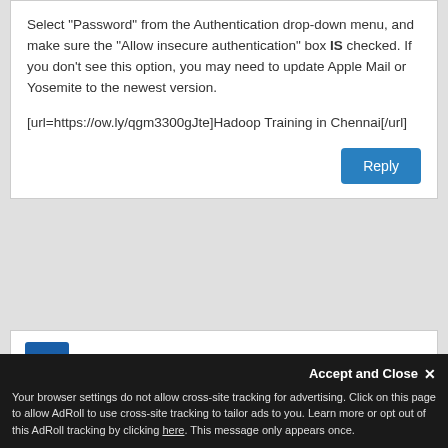Select "Password" from the Authentication drop-down menu, and make sure the "Allow insecure authentication" box IS checked. If you don't see this option, you may need to update Apple Mail or Yosemite to the newest version.
[url=https://ow.ly/qgm3300gJte]Hadoop Training in Chennai[/url]
Eco Tacho says:
Your browser settings do not allow cross-site tracking for advertising. Click on this page to allow AdRoll to use cross-site tracking to tailor ads to you. Learn more or opt out of this AdRoll tracking by clicking here. This message only appears once.